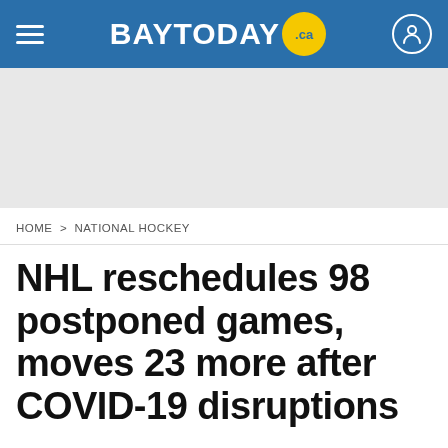BAYTODAY.ca
[Figure (other): Grey advertisement placeholder block]
HOME > NATIONAL HOCKEY
NHL reschedules 98 postponed games, moves 23 more after COVID-19 disruptions